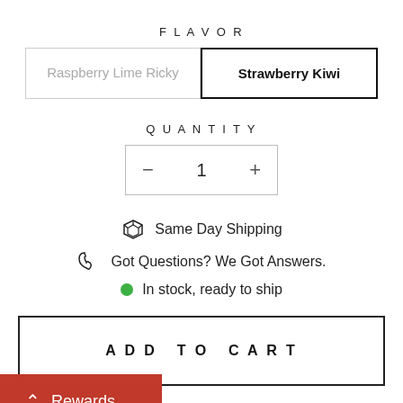FLAVOR
Raspberry Lime Ricky
Strawberry Kiwi
QUANTITY
- 1 +
Same Day Shipping
Got Questions? We Got Answers.
In stock, ready to ship
ADD TO CART
Rewards